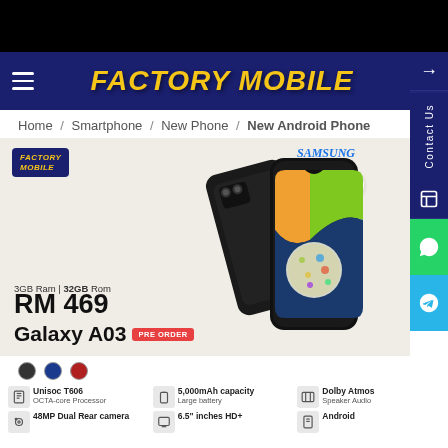FACTORY MOBILE
Home / Smartphone / New Phone / New Android Phone
[Figure (screenshot): Samsung Galaxy A03 product image showing front and back of the phone in black, with colorful wallpaper on screen. Shows 3GB Ram | 32GB Rom, RM 469 price, Galaxy A03 model name with PRE ORDER badge. Factory Mobile and Samsung logos visible. Specs shown: Unisoc T606 OCTA-core Processor, 5,000mAh capacity Large battery, Dolby Atmos Speaker Audio, 48MP Dual Rear camera, 6.5 inches HD+, Android.]
3GB Ram | 32GB Rom
RM 469
Galaxy A03 PRE ORDER
Unisoc T606 OCTA-core Processor | 5,000mAh capacity Large battery | Dolby Atmos Speaker Audio | 48MP Dual Rear camera | 6.5" inches HD+ | Android